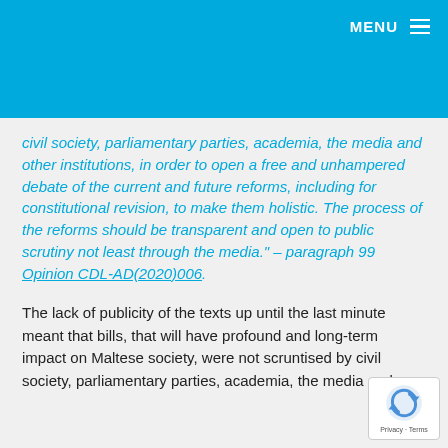MENU
civil society, parliamentary parties, academia, the media and other institutions, in order to open a free and unhampered debate of the current and future reforms, including for constitutional revision, to make them holistic. The process of the reforms should be transparent and open to public scrutiny not least through the media." – paragraph 99 Opinion CDL-AD(2020)006.
The lack of publicity of the texts up until the last minute meant that bills, that will have profound and long-term impact on Maltese society, were not scruntised by civil society, parliamentary parties, academia, the media and